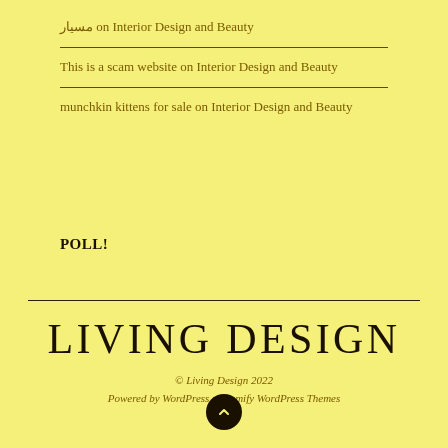مسيار on Interior Design and Beauty
This is a scam website on Interior Design and Beauty
munchkin kittens for sale on Interior Design and Beauty
POLL!
LIVING DESIGN
© Living Design 2022
Powered by WordPress • Themify WordPress Themes